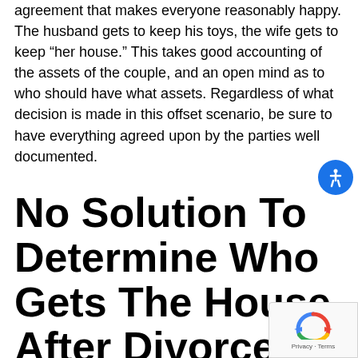agreement that makes everyone reasonably happy. The husband gets to keep his toys, the wife gets to keep “her house.” This takes good accounting of the assets of the couple, and an open mind as to who should have what assets. Regardless of what decision is made in this offset scenario, be sure to have everything agreed upon by the parties well documented.
No Solution To Determine Who Gets The House After Divorce? Sell and